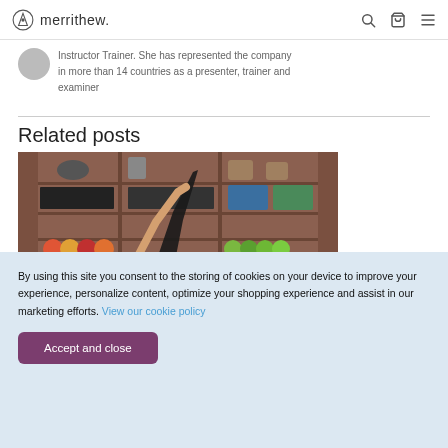merrithew.
Instructor Trainer. She has represented the company in more than 14 countries as a presenter, trainer and examiner
Related posts
[Figure (photo): Person doing pilates in front of a large shelving unit filled with exercise equipment including balls, mats, and accessories]
By using this site you consent to the storing of cookies on your device to improve your experience, personalize content, optimize your shopping experience and assist in our marketing efforts. View our cookie policy
Accept and close